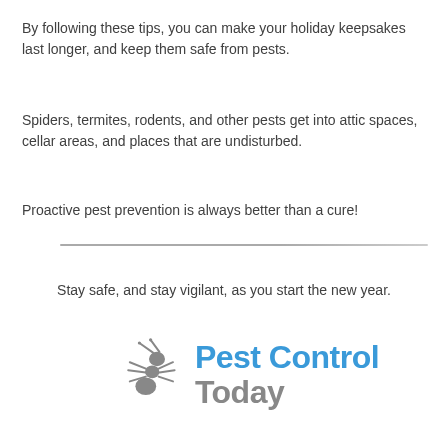By following these tips, you can make your holiday keepsakes last longer, and keep them safe from pests.
Spiders, termites, rodents, and other pests get into attic spaces, cellar areas, and places that are undisturbed.
Proactive pest prevention is always better than a cure!
Stay safe, and stay vigilant, as you start the new year.
[Figure (logo): Pest Control Today logo with ant icon on the left and bold text 'Pest Control Today' on the right, where 'Pest Control' is in blue and 'Today' is in grey.]